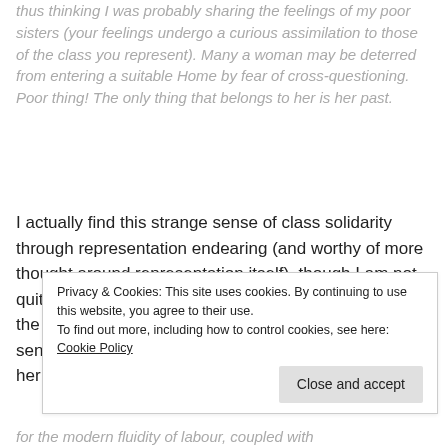thus thinking I was probably sharing the feelings of my poor sisters (your feelings undergo a curious assimilation to those of the class you represent). Many a woman may be deterred from entering a suitable Home by fear of cross-questioning. Poor thing! The only thing that belongs to her is her past.
I actually find this strange sense of class solidarity through representation endearing (and worthy of more thought around representation itself), though I am not quite sure why. She finds the Salvation Army quarters the best of all of them, but to compare the following sentence with all of the theoretical rubbish that frames her actual experience is so telling:
Privacy & Cookies: This site uses cookies. By continuing to use this website, you agree to their use. To find out more, including how to control cookies, see here: Cookie Policy
Close and accept
for the modern fluidity of labour, coupled with